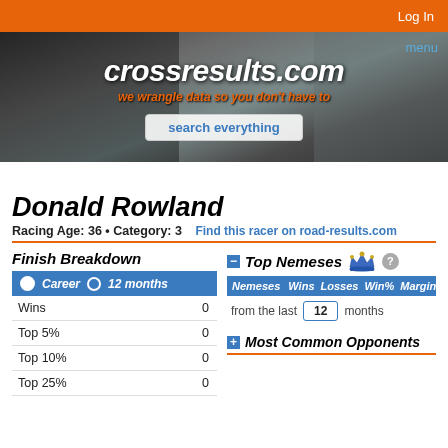Log In
[Figure (screenshot): crossresults.com website banner with logo text 'crossresults.com', subtitle 'we wrangle data so you don't have to', and a search box labeled 'search everything'. Background is a dark rainy/wet pavement photo. 'menu' link in top right.]
Donald Rowland
Racing Age: 36 • Category: 3    Find this racer on road-results.com
Finish Breakdown
|  |  |
| --- | --- |
| Wins | 0 |
| Top 5% | 0 |
| Top 10% | 0 |
| Top 25% | 0 |
Top Nemeses
| Nemeses | Wins | Losses | Win% | Margin |
| --- | --- | --- | --- | --- |
from the last 12 months
Most Common Opponents